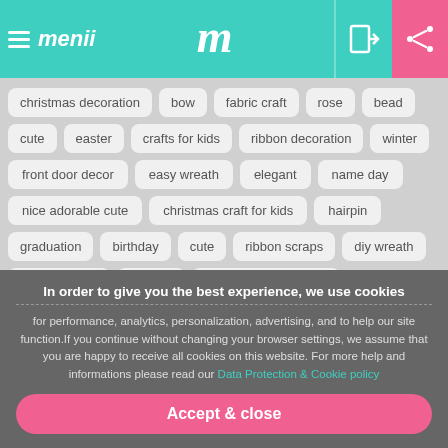menii - m
christmas decoration
bow
fabric craft
rose
bead
cute
easter
crafts for kids
ribbon decoration
winter
front door decor
easy wreath
elegant
name day
nice adorable cute
christmas craft for kids
hairpin
graduation
birthday
cute
ribbon scraps
diy wreath
mother's day
brooch
globe orb bauble ball
simple christmas tree ornament
wreath
jewelry making
In order to give you the best experience, we use cookies
for performance, analytics, personalization, advertising, and to help our site function.If you continue without changing your browser settings, we assume that you are happy to receive all cookies on this website. For more help and informations please read our Data Protection & Cookie policy
Accept & close